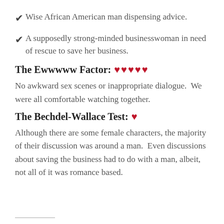Wise African American man dispensing advice.
A supposedly strong-minded businesswoman in need of rescue to save her business.
The Ewwwww Factor: ♥♥♥♥♥
No awkward sex scenes or inappropriate dialogue.  We were all comfortable watching together.
The Bechdel-Wallace Test: ♥
Although there are some female characters, the majority of their discussion was around a man.  Even discussions about saving the business had to do with a man, albeit, not all of it was romance based.